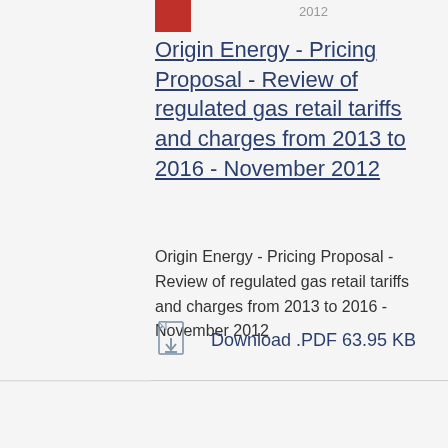Origin Energy - Pricing Proposal - Review of regulated gas retail tariffs and charges from 2013 to 2016 - November 2012
Origin Energy - Pricing Proposal - Review of regulated gas retail tariffs and charges from 2013 to 2016 - November 2012
Download .PDF 63.95 KB
Water  Proposal  21 Jan 2010